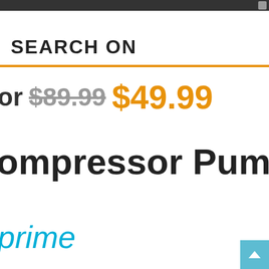SEARCH ON
or $89.99 $49.99
ompressor Pump
prime